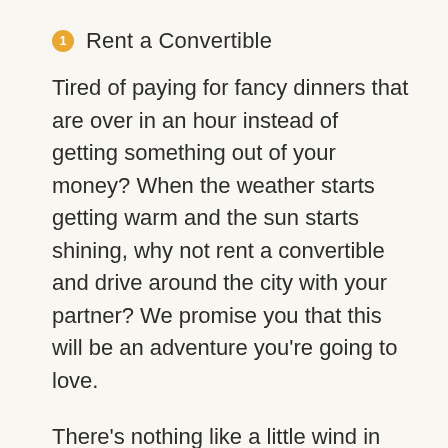1  Rent a Convertible
Tired of paying for fancy dinners that are over in an hour instead of getting something out of your money? When the weather starts getting warm and the sun starts shining, why not rent a convertible and drive around the city with your partner? We promise you that this will be an adventure you’re going to love.
There’s nothing like a little wind in your hair and sun on your face. Of course, this date isn’t just to drive around. Pack